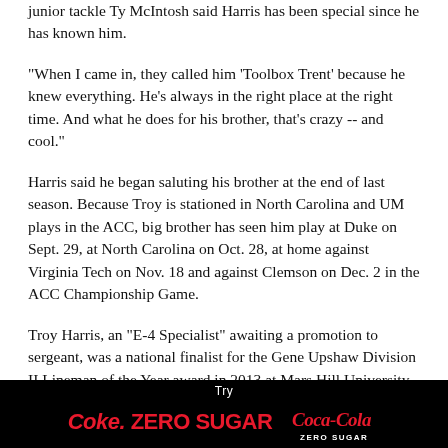junior tackle Ty McIntosh said Harris has been special since he has known him.
"When I came in, they called him 'Toolbox Trent' because he knew everything. He's always in the right place at the right time. And what he does for his brother, that's crazy -- and cool."
Harris said he began saluting his brother at the end of last season. Because Troy is stationed in North Carolina and UM plays in the ACC, big brother has seen him play at Duke on Sept. 29, at North Carolina on Oct. 28, at home against Virginia Tech on Nov. 18 and against Clemson on Dec. 2 in the ACC Championship Game.
Troy Harris, an "E-4 Specialist" awaiting a promotion to sergeant, was a national finalist for the Gene Upshaw Division II Lineman of the Year award in 2013 at Mars Hill University.
[Figure (other): Coca-Cola Zero Sugar advertisement banner with black background. Text reads 'Try Coke. ZERO SUGAR' with Coca-Cola Zero Sugar logo.]